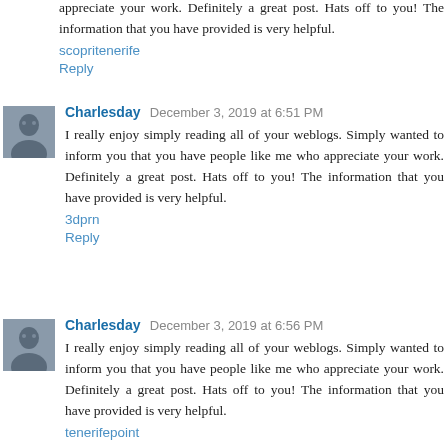appreciate your work. Definitely a great post. Hats off to you! The information that you have provided is very helpful.
scopritenerife
Reply
Charlesday  December 3, 2019 at 6:51 PM
I really enjoy simply reading all of your weblogs. Simply wanted to inform you that you have people like me who appreciate your work. Definitely a great post. Hats off to you! The information that you have provided is very helpful.
3dprn
Reply
Charlesday  December 3, 2019 at 6:56 PM
I really enjoy simply reading all of your weblogs. Simply wanted to inform you that you have people like me who appreciate your work. Definitely a great post. Hats off to you! The information that you have provided is very helpful.
tenerifepoint